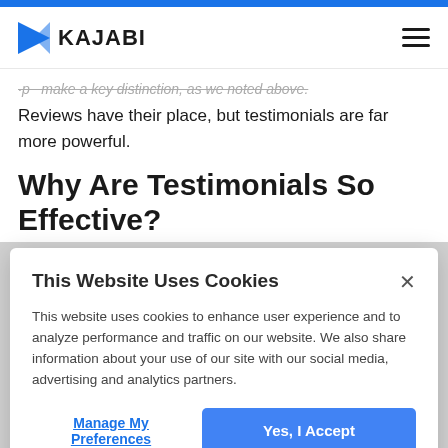KAJABI
make a key distinction, as we noted above. Reviews have their place, but testimonials are far more powerful.
Why Are Testimonials So Effective?
This Website Uses Cookies
This website uses cookies to enhance user experience and to analyze performance and traffic on our website. We also share information about your use of our site with our social media, advertising and analytics partners.
Manage My Preferences
Yes, I Accept